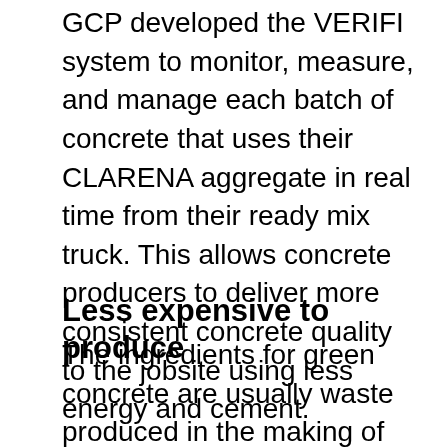GCP developed the VERIFI system to monitor, measure, and manage each batch of concrete that uses their CLARENA aggregate in real time from their ready mix truck. This allows concrete producers to deliver more consistent concrete quality to the jobsite using less energy and cement.
Less expensive to produce
The ingredients for green concrete are usually waste produced in the making of normal concrete. These materials are comparatively less expensive than the materials for normal concrete. The